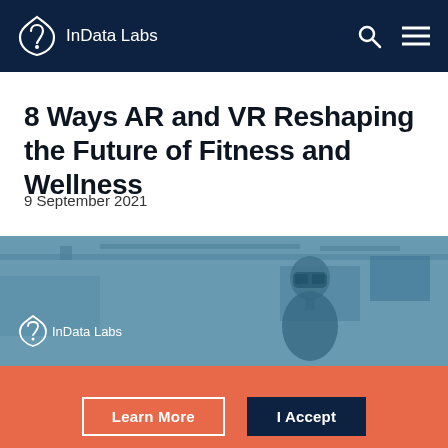InData Labs
8 Ways AR and VR Reshaping the Future of Fitness and Wellness
9 September 2021
[Figure (photo): Person wearing a VR headset in a gym/industrial setting, with InData Labs logo overlay. Image has a blue tinted filter.]
By continuing to browse this website you consent to our use of cookies in accordance with our cookies policy.
Learn More  I Accept